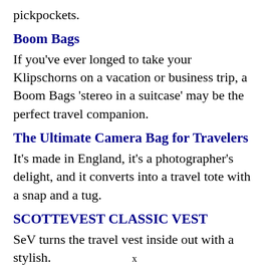pickpockets.
Boom Bags
If you've ever longed to take your Klipschorns on a vacation or business trip, a Boom Bags 'stereo in a suitcase' may be the perfect travel companion.
The Ultimate Camera Bag for Travelers
It's made in England, it's a photographer's delight, and it converts into a travel tote with a snap and a tug.
SCOTTEVEST CLASSIC VEST
SeV turns the travel vest inside out with a stylish.
x